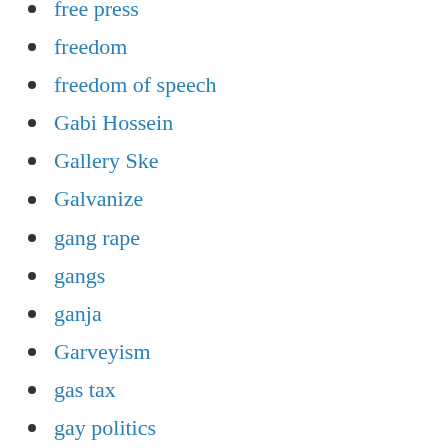free press
freedom
freedom of speech
Gabi Hossein
Gallery Ske
Galvanize
gang rape
gangs
ganja
Garveyism
gas tax
gay politics
Gay rights
Gaza
Geeta Kapur
Gender politics